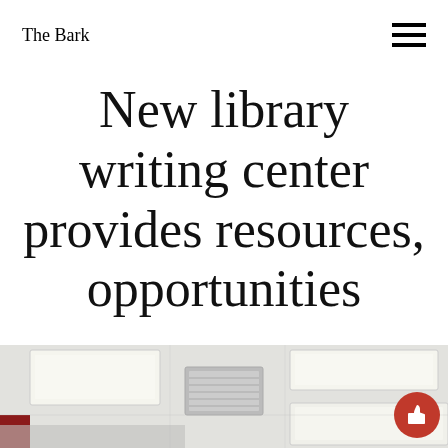The Bark
New library writing center provides resources, opportunities
[Figure (photo): Interior photo of a library/writing center room showing ceiling with fluorescent lighting panels, white ceiling tiles, and HVAC vent. Partial view of red wall element visible at lower left.]